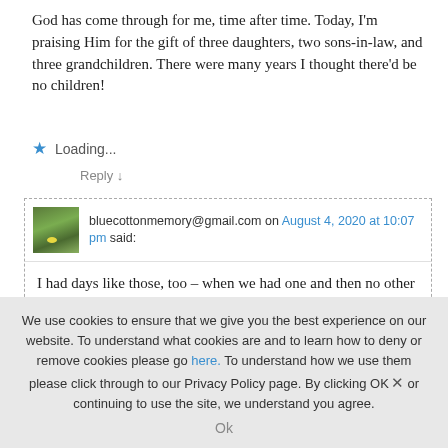God has come through for me, time after time. Today, I'm praising Him for the gift of three daughters, two sons-in-law, and three grandchildren. There were many years I thought there'd be no children!
★ Loading...
Reply ↓
bluecottonmemory@gmail.com on August 4, 2020 at 10:07 pm said:
I had days like those, too – when we had one and then no other children came – and it broke my heart. Did you also find all the stories of women in the bible who were barren but God answered their prayers? Those women taught me so very much! Praising God for hearing the barren woman's cry! Shalom, Jerralea! ~ Maryleigh
We use cookies to ensure that we give you the best experience on our website. To understand what cookies are and to learn how to deny or remove cookies please go here. To understand how we use them please click through to our Privacy Policy page. By clicking OK or continuing to use the site, we understand you agree.
Ok